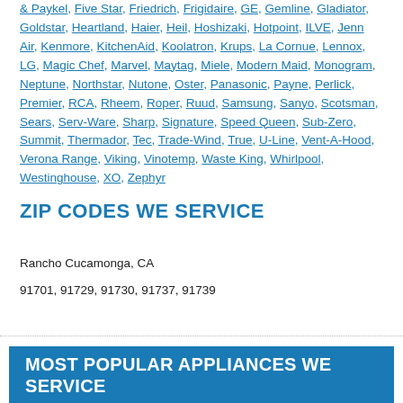& Paykel, Five Star, Friedrich, Frigidaire, GE, Gemline, Gladiator, Goldstar, Heartland, Haier, Heil, Hoshizaki, Hotpoint, ILVE, Jenn Air, Kenmore, KitchenAid, Koolatron, Krups, La Cornue, Lennox, LG, Magic Chef, Marvel, Maytag, Miele, Modern Maid, Monogram, Neptune, Northstar, Nutone, Oster, Panasonic, Payne, Perlick, Premier, RCA, Rheem, Roper, Ruud, Samsung, Sanyo, Scotsman, Sears, Serv-Ware, Sharp, Signature, Speed Queen, Sub-Zero, Summit, Thermador, Tec, Trade-Wind, True, U-Line, Vent-A-Hood, Verona Range, Viking, Vinotemp, Waste King, Whirlpool, Westinghouse, XO, Zephyr
ZIP CODES WE SERVICE
Rancho Cucamonga, CA
91701, 91729, 91730, 91737, 91739
MOST POPULAR APPLIANCES WE SERVICE